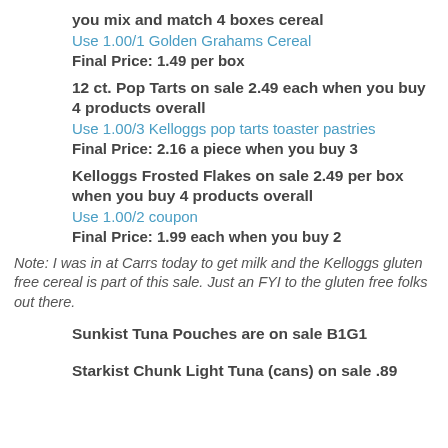you mix and match 4 boxes cereal
Use 1.00/1 Golden Grahams Cereal
Final Price: 1.49 per box
12 ct. Pop Tarts on sale 2.49 each when you buy 4 products overall
Use 1.00/3 Kelloggs pop tarts toaster pastries
Final Price: 2.16 a piece when you buy 3
Kelloggs Frosted Flakes on sale 2.49 per box when you buy 4 products overall
Use 1.00/2 coupon
Final Price: 1.99 each when you buy 2
Note: I was in at Carrs today to get milk and the Kelloggs gluten free cereal is part of this sale. Just an FYI to the gluten free folks out there.
Sunkist Tuna Pouches are on sale B1G1
Starkist Chunk Light Tuna (cans) on sale .89